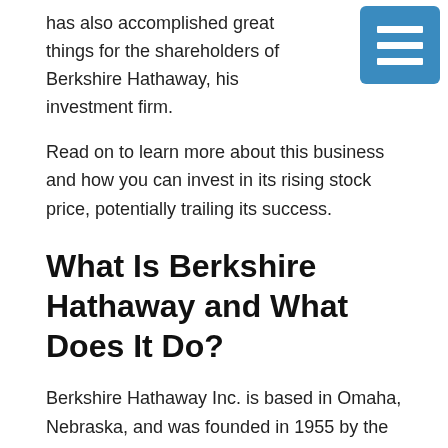has also accomplished great things for the shareholders of Berkshire Hathaway, his investment firm.
[Figure (other): Blue square icon button with three horizontal white lines (hamburger/menu icon)]
Read on to learn more about this business and how you can invest in its rising stock price, potentially trailing its success.
What Is Berkshire Hathaway and What Does It Do?
Berkshire Hathaway Inc. is based in Omaha, Nebraska, and was founded in 1955 by the merger of the Massachusetts companies Hathaway Manufacturing Company (incorporated 1888) and Berkshire Cotton Manufacturing Company (incorporated 1889, later changed to Berkshire Fine Spinning Associates in 1929).
Berkshire Hathaway has a penchant for the acquisition of